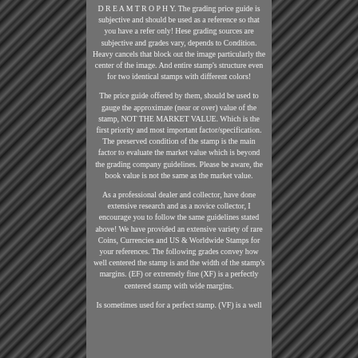D R E A M T R O P H Y. The grading price guide is subjective and should be used as a reference so that you have a refer only! Hese grading sources are subjective and grades vary, depends to Condition. Heavy cancels that block out the image particularly the center of the image. And entire stamp's structure even for two identical stamps with different colors!
The price guide offered by them, should be used to gauge the approximate (near or over) value of the stamp, NOT THE MARKET VALUE. Which is the first priority and most important factor/specification. The preserved condition of the stamp is the main factor to evaluate the market value which is beyond the grading company guidelines. Please be aware, the book value is not the same as the market value.
As a professional dealer and collector, have done extensive research and as a novice collector, I encourage you to follow the same guidelines stated above! We have provided an extensive variety of rare Coins, Currencies and US & Worldwide Stamps for your references. The following grades convey how well centered the stamp is and the width of the stamp's margins. (EF) or extremely fine (XF) is a perfectly centered stamp with wide margins.
Is sometimes used for a perfect stamp. (VF) is a well